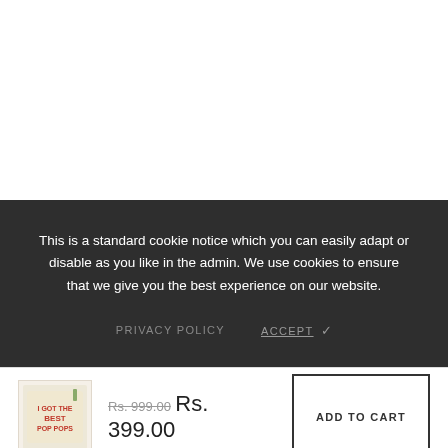This is a standard cookie notice which you can easily adapt or disable as you like in the admin. We use cookies to ensure that we give you the best experience on our website.
PRIVACY POLICY   ACCEPT ✓
[Figure (photo): Small thumbnail of a decorative pillow with red text on a cream/beige background]
Rs. 999.00  Rs. 399.00
ADD TO CART